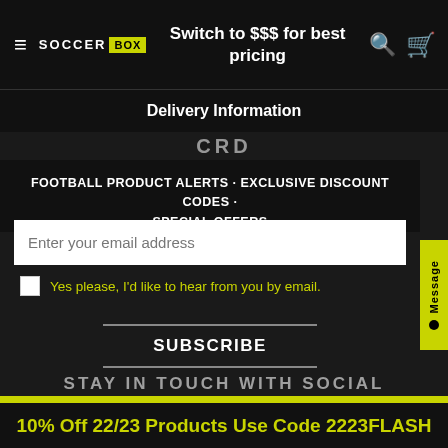SOCCER BOX — Switch to $$$ for best pricing
Delivery Information
FOOTBALL PRODUCT ALERTS · EXCLUSIVE DISCOUNT CODES · SPECIAL OFFERS
Enter your email address
Yes please, I'd like to hear from you by email.
SUBSCRIBE
STAY IN TOUCH WITH SOCIAL
10% Off 22/23 Products Use Code 2223FLASH